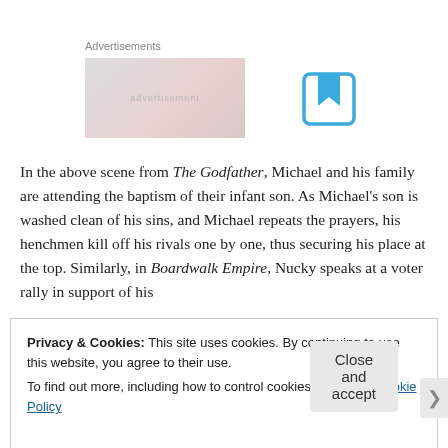Advertisements
[Figure (other): Advertisement placeholder image with pinkish-grey gradient background]
[Figure (other): Blue bookmark/save icon — square with bookmark ribbon cutout]
In the above scene from The Godfather, Michael and his family are attending the baptism of their infant son. As Michael's son is washed clean of his sins, and Michael repeats the prayers, his henchmen kill off his rivals one by one, thus securing his place at the top. Similarly, in Boardwalk Empire, Nucky speaks at a voter rally in support of his
Privacy & Cookies: This site uses cookies. By continuing to use this website, you agree to their use.
To find out more, including how to control cookies, see here: Cookie Policy
Close and accept